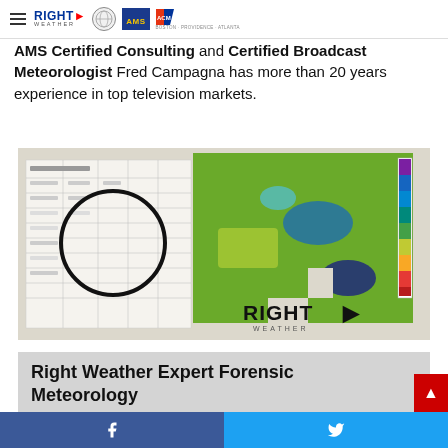RIGHT WEATHER | AMS | ACM logos and navigation
AMS Certified Consulting and Certified Broadcast Meteorologist Fred Campagna has more than 20 years experience in top television markets.
[Figure (illustration): Composite image showing a weather data spreadsheet/table on the left with a circular highlight, and a green radar/topographic map on the right with a RIGHT WEATHER logo in the bottom right corner.]
Right Weather Expert Forensic Meteorology
Build a stronger court case or insurance claim by using the Right Weather team to accurately reconstruct past weather events.
Facebook and Twitter share buttons